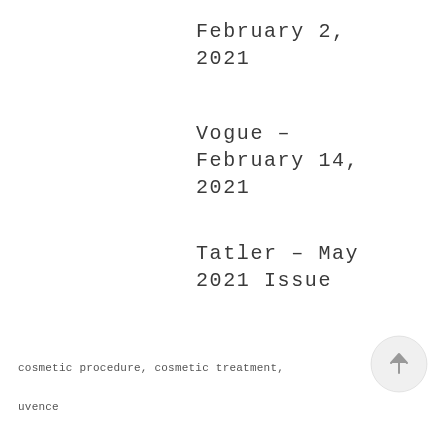February 2, 2021
Vogue – February 14, 2021
Tatler – May 2021 Issue
[Figure (other): Up-arrow navigation button in a light grey circle]
cosmetic procedure, cosmetic treatment, uvence